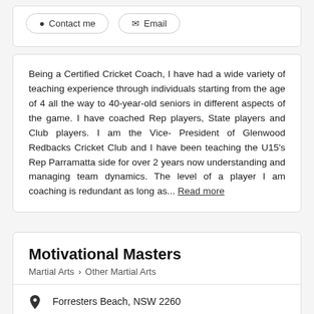Contact me
Email
Being a Certified Cricket Coach, I have had a wide variety of teaching experience through individuals starting from the age of 4 all the way to 40-year-old seniors in different aspects of the game. I have coached Rep players, State players and Club players. I am the Vice- President of Glenwood Redbacks Cricket Club and I have been teaching the U15's Rep Parramatta side for over 2 years now understanding and managing team dynamics. The level of a player I am coaching is redundant as long as... Read more
Motivational Masters
Martial Arts > Other Martial Arts
Forresters Beach, NSW 2260
5-10 km from Kincumber
Awards: #12 Most Popular in the Central Coast for 2021